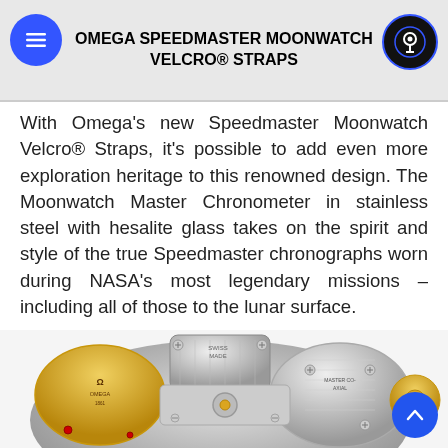OMEGA SPEEDMASTER MOONWATCH VELCRO® STRAPS
With Omega's new Speedmaster Moonwatch Velcro® Straps, it's possible to add even more exploration heritage to this renowned design. The Moonwatch Master Chronometer in stainless steel with hesalite glass takes on the spirit and style of the true Speedmaster chronographs worn during NASA's most legendary missions – including all of those to the lunar surface.
[Figure (photo): Close-up photo of an Omega Speedmaster watch movement, showing the intricate mechanical components with gold and silver coloring, screws, and jewels.]